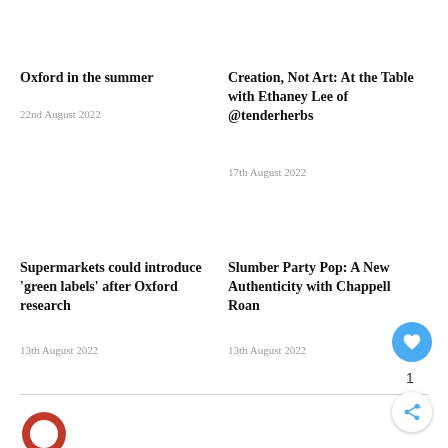Oxford in the summer
22nd August 2022
Creation, Not Art: At the Table with Ethaney Lee of @tenderherbs
17th August 2022
Supermarkets could introduce ‘green labels’ after Oxford research
13th August 2022
Slumber Party Pop: A New Authenticity with Chappell Roan
13th August 2022
[Figure (logo): Red circular logo partially visible at bottom left]